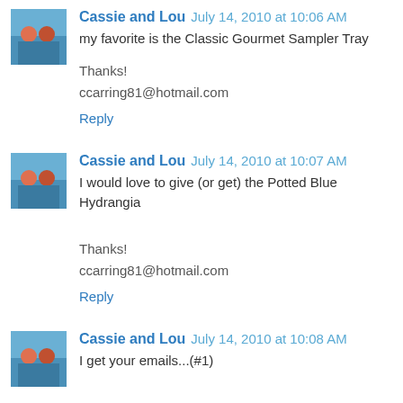[Figure (photo): Avatar photo of Cassie and Lou - two people by a pool]
Cassie and Lou July 14, 2010 at 10:06 AM
my favorite is the Classic Gourmet Sampler Tray

Thanks!
ccarring81@hotmail.com
Reply
[Figure (photo): Avatar photo of Cassie and Lou - two people by a pool]
Cassie and Lou July 14, 2010 at 10:07 AM
I would love to give (or get) the Potted Blue Hydrangia


Thanks!
ccarring81@hotmail.com
Reply
[Figure (photo): Avatar photo of Cassie and Lou - two people by a pool]
Cassie and Lou July 14, 2010 at 10:08 AM
I get your emails...(#1)